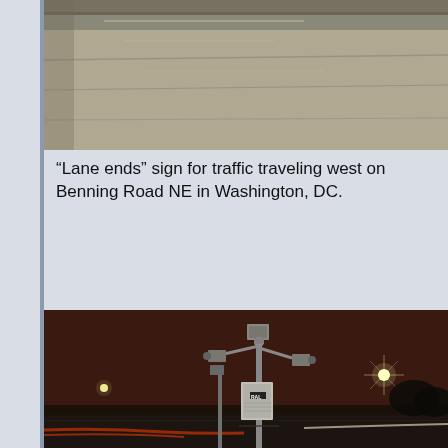[Figure (photo): Close-up photograph of a road surface or curb, showing concrete/pavement texture, partial view at top of page.]
“Lane ends” sign for traffic traveling west on Benning Road NE in Washington, DC.
[Figure (photo): Night photograph of a traffic camera and sensor equipment mounted on a pole along a road, with street lights and light trails from vehicles visible in the background. A RAL-labeled equipment box is on the pole.]